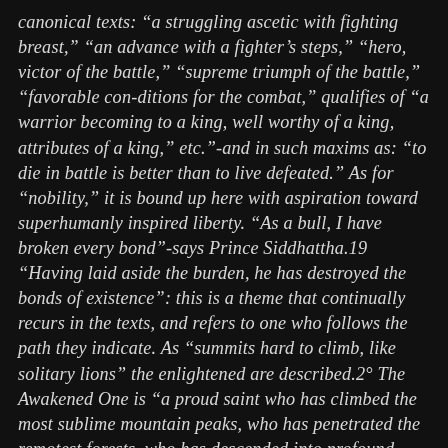canonical texts: “a struggling ascetic with fighting breast,” “an advance with a fighter’s steps,” “hero, victor of the battle,” “supreme triumph of the battle,” “favorable con ditions for the combat,” qualifies of “a warrior becoming to a king, well worthy of a king, attributes of a king,” etc.”- and in such maxims as: “to die in battle is better than to live defeated.” As for “nobility,” it is bound up here with aspiration toward superhumanly inspired liberty. “As a bull, I have broken every bond”-says Prince Siddhattha.19 “Having laid aside the burden, he has destroyed the bonds of existence”: this is a theme that continually recurs in the texts, and refers to one who follows the path they indicate. As “summits hard to climb, like solitary lions” the enlightened are described.2° The Awakened One is “a proud saint who has climbed the most sublime mountain peaks, who has penetrated the remotest forests, who has descended into profound abysses.”21 He himself said, “I